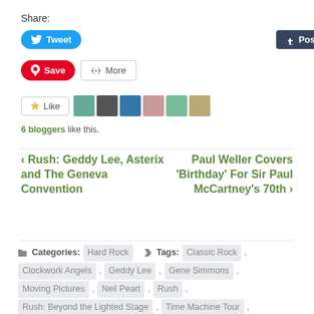Share:
[Figure (screenshot): Social sharing buttons: Tweet (blue), Post/Tumblr (dark), Email (outlined), Save/Pinterest (red), More (outlined)]
[Figure (screenshot): Like button with star icon and 6 blogger avatar thumbnails]
6 bloggers like this.
‹ Rush: Geddy Lee, Asterix and The Geneva Convention
Paul Weller Covers 'Birthday' For Sir Paul McCartney's 70th ›
Categories: Hard Rock   Tags: Classic Rock , Clockwork Angels , Geddy Lee , Gene Simmons , Moving Pictures , Neil Peart , Rush , Rush: Beyond the Lighted Stage , Time Machine Tour , Tom Sawyer , YYZ (instrumental)